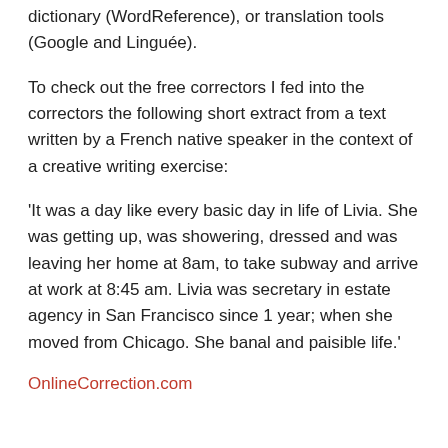dictionary (WordReference), or translation tools (Google and Linguée).
To check out the free correctors I fed into the correctors the following short extract from a text written by a French native speaker in the context of a creative writing exercise:
'It was a day like every basic day in life of Livia. She was getting up, was showering, dressed and was leaving her home at 8am, to take subway and arrive at work at 8:45 am. Livia was secretary in estate agency in San Francisco since 1 year; when she moved from Chicago. She banal and paisible life.'
OnlineCorrection.com